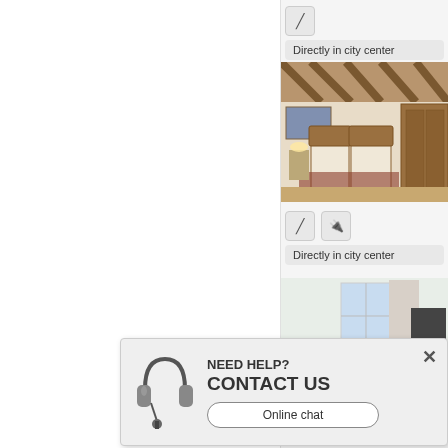[Figure (screenshot): UI tag area with pencil icon and 'Directly in city center' label]
[Figure (photo): Interior photo of a bedroom with wooden beamed ceiling, two beds with wooden headboards, wardrobe, and patterned carpet]
[Figure (screenshot): UI tag area with pencil icon, house/wifi icon, and 'Directly in city center' label]
[Figure (photo): Interior photo of a bright room with windows, chair, table, and TV stand]
[Figure (screenshot): Help overlay with headphone icon, 'NEED HELP? CONTACT US' text and 'Online chat' button]